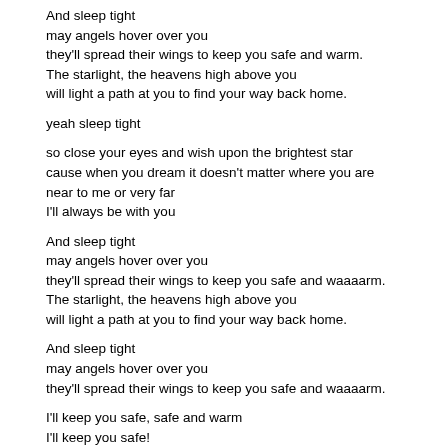And sleep tight
may angels hover over you
they'll spread their wings to keep you safe and warm.
The starlight, the heavens high above you
will light a path at you to find your way back home.
yeah sleep tight
so close your eyes and wish upon the brightest star
cause when you dream it doesn't matter where you are
near to me or very far
I'll always be with you
And sleep tight
may angels hover over you
they'll spread their wings to keep you safe and waaaarm.
The starlight, the heavens high above you
will light a path at you to find your way back home.
And sleep tight
may angels hover over you
they'll spread their wings to keep you safe and waaaarm.
I'll keep you safe, safe and warm
I'll keep you safe!
. . .
What A Wonderful World